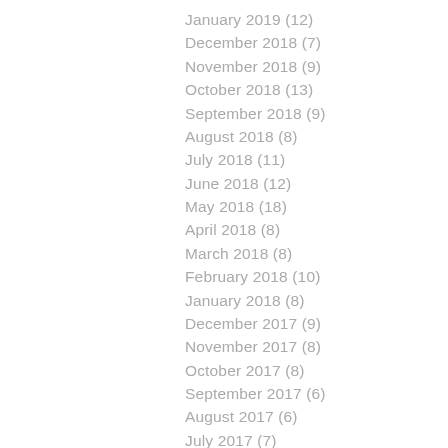January 2019 (12)
December 2018 (7)
November 2018 (9)
October 2018 (13)
September 2018 (9)
August 2018 (8)
July 2018 (11)
June 2018 (12)
May 2018 (18)
April 2018 (8)
March 2018 (8)
February 2018 (10)
January 2018 (8)
December 2017 (9)
November 2017 (8)
October 2017 (8)
September 2017 (6)
August 2017 (6)
July 2017 (7)
June 2017 (3)
January 2017 (2)
December 2016 (8)